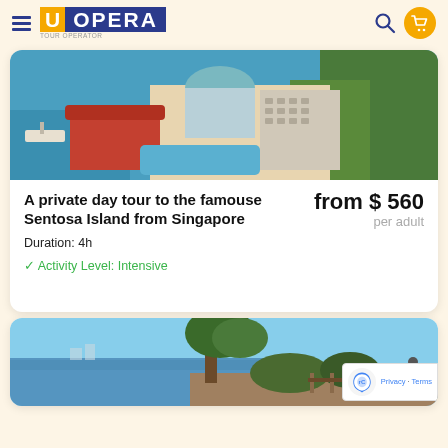UOPERA — Tour Operator
[Figure (photo): Aerial view of Sentosa Island resort complex in Singapore with waterfront, red-roofed buildings and lush greenery]
A private day tour to the famouse Sentosa Island from Singapore
Duration: 4h
from $ 560 per adult
✓ Activity Level: Intensive
[Figure (photo): Coastal scene with trees and blue water, partially visible second tour card]